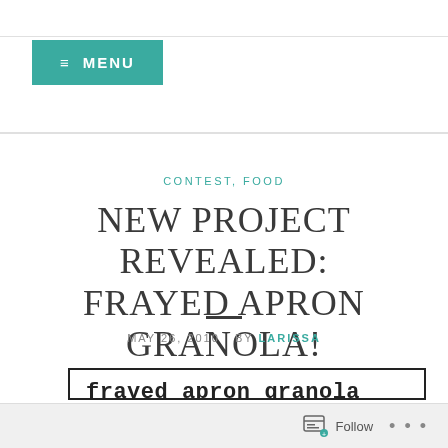≡ MENU
CONTEST, FOOD
NEW PROJECT REVEALED: FRAYED APRON GRANOLA!
MAY 26, 2010  BY LARISSA
[Figure (photo): Frayed apron granola product photo with white label on green background, showing multiple product images in a strip]
Follow • • •